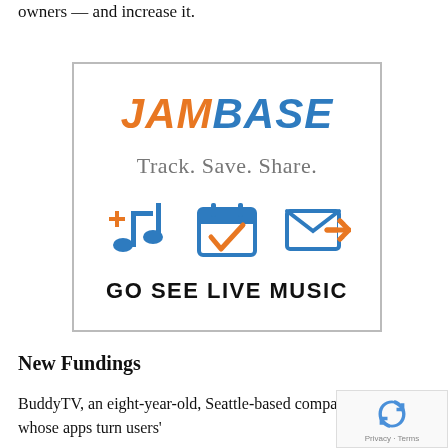owners — and increase it.
[Figure (logo): JamBase advertisement. Logo reads 'JamBase' in orange and blue italic bold text. Tagline: 'Track. Save. Share.' with three icons: a music note with plus sign (blue/orange), a calendar with checkmark (blue/orange), and an envelope with arrow (blue/orange). Bottom text: 'GO SEE LIVE MUSIC' in bold black uppercase.]
New Fundings
BuddyTV, an eight-year-old, Seattle-based company whose apps turn users'